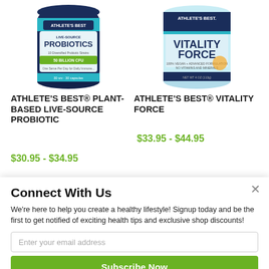[Figure (photo): Two Athlete's Best supplement product bottles: left is Plant-Based Live-Source Probiotics in a dark blue/teal container; right is Vitality Force in a light blue/white container.]
ATHLETE'S BEST® PLANT-BASED LIVE-SOURCE PROBIOTIC
ATHLETE'S BEST® VITALITY FORCE
$30.95 - $34.95
$33.95 - $44.95
Connect With Us
We're here to help you create a healthy lifestyle! Signup today and be the first to get notified of exciting health tips and exclusive shop discounts!
Enter your email address
Subscribe Now